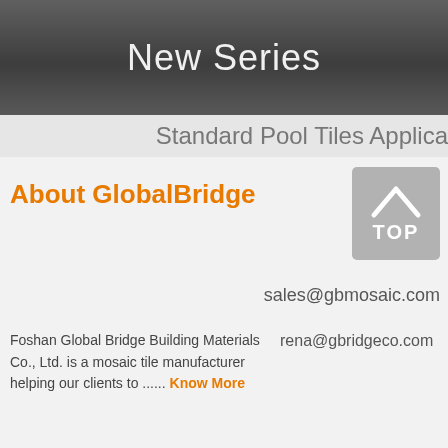New Series
Standard Pool Tiles Applica
About GlobalBridge
[Figure (other): Gray rounded square button with upward chevron arrow and text TOP]
sales@gbmosaic.com
Foshan Global Bridge Building Materials Co., Ltd. is a mosaic tile manufacturer helping our clients to ...... Know More
rena@gbridgeco.com